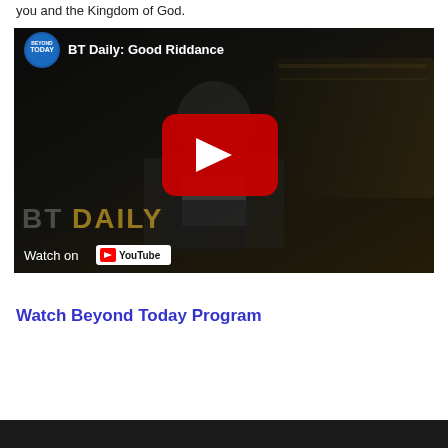you and the Kingdom of God.
[Figure (screenshot): YouTube video embed thumbnail showing 'BT Daily: Good Riddance' with a man in a dark suit holding a tablet, a red YouTube play button in the center, the Beyond Today logo in the top-left, and 'Watch on YouTube' in the bottom-left. 'BT DAILY' watermark text visible at the bottom.]
Watch Beyond Today Program